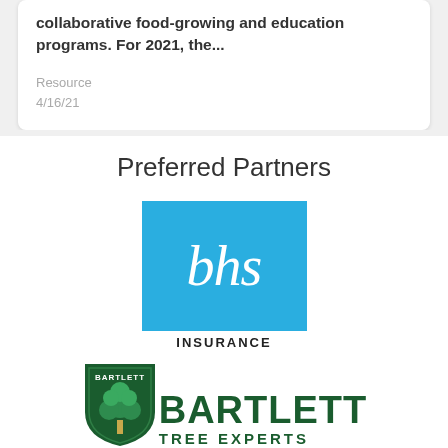collaborative food-growing and education programs. For 2021, the...
Resource
4/16/21
Preferred Partners
[Figure (logo): BHS Insurance logo — blue rectangle with white italic lowercase 'bhs' text, and 'INSURANCE' in black bold letters below]
[Figure (logo): Bartlett Tree Experts logo — green shield emblem with tree and 'BARTLETT' text, next to dark green 'BARTLETT' company name text and 'TREE EXPERTS' below]